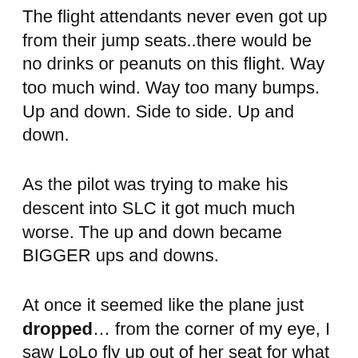The flight attendants never even got up from their jump seats..there would be no drinks or peanuts on this flight. Way too much wind. Way too many bumps. Up and down. Side to side. Up and down.
As the pilot was trying to make his descent into SLC it got much much worse. The up and down became BIGGER ups and downs.
At once it seemed like the plane just dropped… from the corner of my eye, I saw LoLo fly up out of her seat for what seemed to me at least 2 feet. (coach was across the isle from me, then Linds, then Lo was by the window)